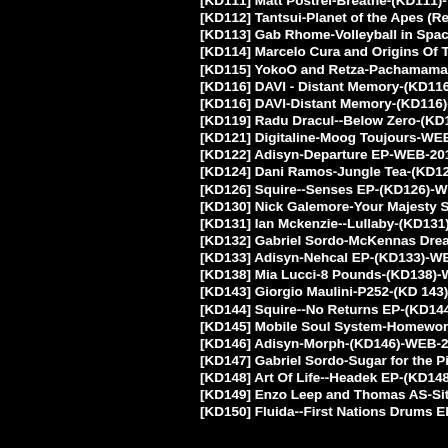[KD111] Matt Postrei-Breathe-(KD111)-WEB-
[KD112] Tantsui-Planet of the Apes (Remixes)-
[KD113] Gab Rhome-Volleyball in Space-(KD1
[KD114] Marcelo Cura and Origins Of Time--
[KD115] YokoO and Retza-Pachamama-EP-(K
[KD116] DAVI - Distant Memory-(KD116)-WE
[KD116] DAVI-Distant Memory-(KD116)-WEB
[KD119] Radu Dracul--Below Zero-(KD119)-W
[KD121] Digitaline-Moog Toujours-WEB-2017
[KD122] Adisyn-Departure EP-WEB-2018-WA
[KD124] Dani Ramos-Jungle Tea-(KD124)-WE
[KD126] Squire--Senses EP-(KD126)-WEB-20
[KD130] Nick Galemore-Your Majesty Slowly-
[KD131] Ian Mckenzie--Lullaby-(KD131)-WE
[KD132] Gabriel Sordo-McKennas Dream-EP
[KD133] Adisyn-Nehcal EP-(KD133)-WEB-20
[KD138] Mia Lucci-8 Pounds-(KD138)-WEB-2
[KD143] Giorgio Maulini-P252-(KD 143)-WEB
[KD144] Squire--No Returns EP-(KD144)-WEB
[KD145] Mobile Soul System-Homework-EP-(
[KD146] Adisyn-Morph-(KD146)-WEB-2019-D
[KD147] Gabriel Sordo-Sugar for the Pill-EP-
[KD148] Art Of Life--Headek EP-(KD148)-WE
[KD149] Enzo Leep and Thomas AS-Sit in the
[KD150] Fluida--First Nations Drums EP-(KD